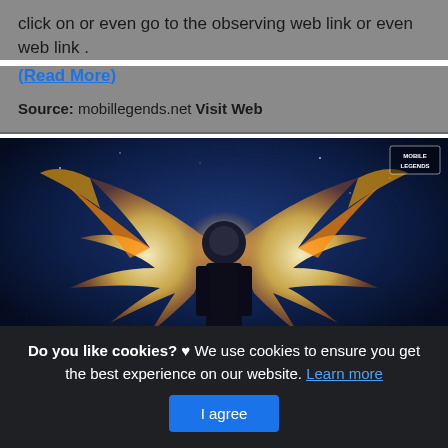click on or even go to the observing web link or even web link .
(Read More)
Source: mobillegends.net Visit Web
[Figure (illustration): Mobile Legends game artwork showing a character with large glowing wings from behind, standing against a dark blue fantasy background. Bottom text reads: "MY BLADE MAKES MY ENEMIES TREMBLE". Mobile Legends logo visible in top right corner.]
Do you like cookies? ♥ We use cookies to ensure you get the best experience on our website. Learn more
I agree